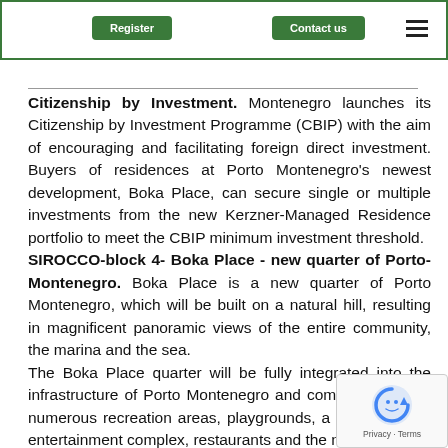[navigation bar with two green buttons and hamburger menu]
Citizenship by Investment. Montenegro launches its Citizenship by Investment Programme (CBIP) with the aim of encouraging and facilitating foreign direct investment. Buyers of residences at Porto Montenegro's newest development, Boka Place, can secure single or multiple investments from the new Kerzner-Managed Residence portfolio to meet the CBIP minimum investment threshold. SIROCCO-block 4- Boka Place - new quarter of Porto-Montenegro. Boka Place is a new quarter of Porto Montenegro, which will be built on a natural hill, resulting in magnificent panoramic views of the entire community, the marina and the sea. The Boka Place quarter will be fully integrated into the infrastructure of Porto Montenegro and complemented by numerous recreation areas, playgrounds, a shopping and entertainment complex, restaurants and the new SIRC...